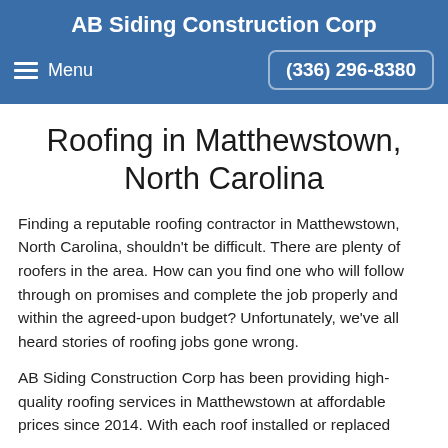AB Siding Construction Corp
Menu  (336) 296-8380
Roofing in Matthewstown, North Carolina
Finding a reputable roofing contractor in Matthewstown, North Carolina, shouldn't be difficult. There are plenty of roofers in the area. How can you find one who will follow through on promises and complete the job properly and within the agreed-upon budget? Unfortunately, we've all heard stories of roofing jobs gone wrong.
AB Siding Construction Corp has been providing high-quality roofing services in Matthewstown at affordable prices since 2014. With each roof installed or replaced